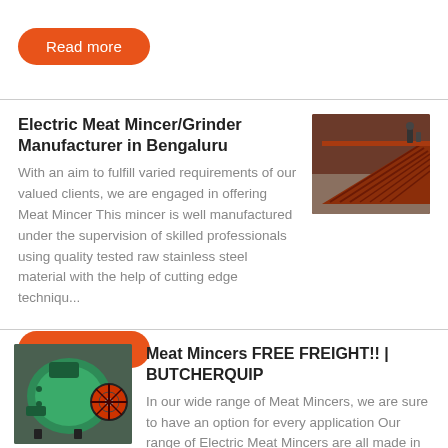[Figure (other): Read more button (orange rounded rectangle)]
Electric Meat Mincer/Grinder Manufacturer in Bengaluru
With an aim to fulfill varied requirements of our valued clients, we are engaged in offering Meat Mincer This mincer is well manufactured under the supervision of skilled professionals using quality tested raw stainless steel material with the help of cutting edge techniqu...
[Figure (photo): Photo of red/brown metal conveyor or ramp structure in an industrial setting]
[Figure (other): Read more button (orange rounded rectangle)]
[Figure (photo): Photo of a green industrial meat mincer/grinder machine]
Meat Mincers FREE FREIGHT!! | BUTCHERQUIP
In our wide range of Meat Mincers, we are sure to have an option for every application Our range of Electric Meat Mincers are all made in